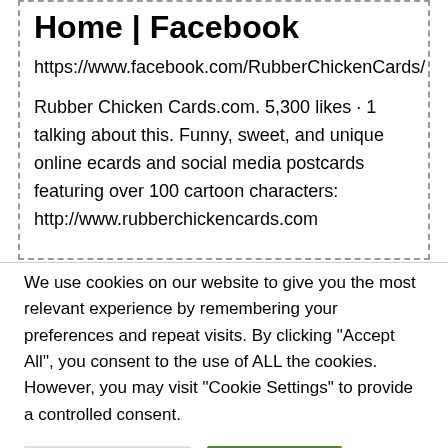Home | Facebook
https://www.facebook.com/RubberChickenCards/
Rubber Chicken Cards.com. 5,300 likes · 1 talking about this. Funny, sweet, and unique online ecards and social media postcards featuring over 100 cartoon characters:
http://www.rubberchickencards.com
We use cookies on our website to give you the most relevant experience by remembering your preferences and repeat visits. By clicking "Accept All", you consent to the use of ALL the cookies. However, you may visit "Cookie Settings" to provide a controlled consent.
Cookie Settings
Accept All